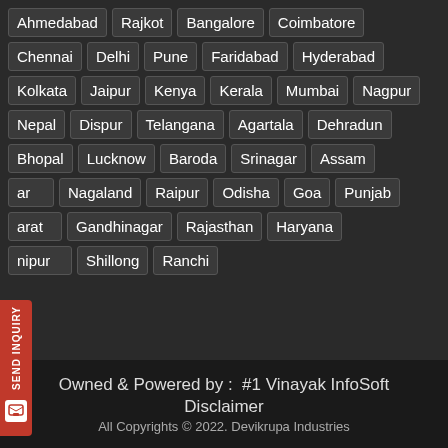Ahmedabad
Rajkot
Bangalore
Coimbatore
Chennai
Delhi
Pune
Faridabad
Hyderabad
Kolkata
Jaipur
Kenya
Kerala
Mumbai
Nagpur
Nepal
Dispur
Telangana
Agartala
Dehradun
Bhopal
Lucknow
Baroda
Srinagar
Assam
ar
Nagaland
Raipur
Odisha
Goa
Punjab
arat
Gandhinagar
Rajasthan
Haryana
nipur
Shillong
Ranchi
Owned & Powered by :  #1 Vinayak InfoSoft
Disclaimer
All Copyrights © 2022. Devikrupa Industries